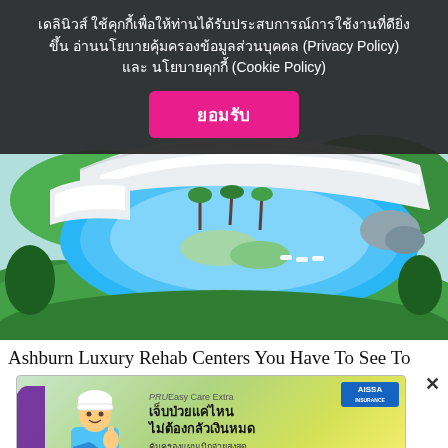เดลินิวส์ ใช้คุกกี้เพื่อให้ท่านได้รับประสบการณ์การใช้งานที่ดียิ่งขึ้น อ่านนโยบายคุ้มครองข้อมูลส่วนบุคคล (Privacy Policy) และ นโยบายคุกกี้ (Cookie Policy)
[Figure (other): Button labeled ยอมรับ (Accept) in pink/magenta color]
[Figure (photo): Aerial view of a luxury resort with white modern architecture, large swimming pool, tropical landscaping, surrounded by green trees and hills]
Ashburn Luxury Rehab Centers You Have To See To
[Figure (infographic): Advertisement banner for PRUEasy Care Extra insurance by Aissa. Shows a woman with arm in sling. Text in Thai: เจ็บป่วยแค่ไหน ไม่ต้องกลัวเงินหมด คุ้มครองแผนเบิกจ่ายสูงสุด 500,000 บาท. Button: ดูรายละเอียด]